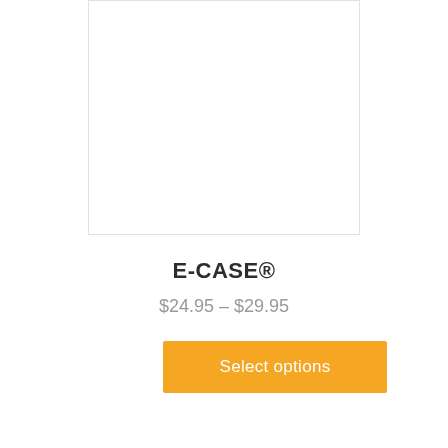[Figure (photo): Product image placeholder — white box with border showing product photo area for E-CASE]
E-CASE®
$24.95 – $29.95
Select options